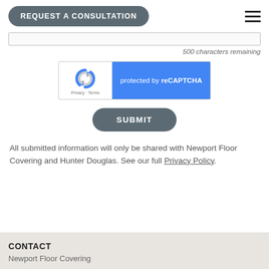REQUEST A CONSULTATION
500 characters remaining
[Figure (other): reCAPTCHA widget with Google logo on white background and 'protected by reCAPTCHA' text on blue background, with Privacy and Terms links]
SUBMIT
All submitted information will only be shared with Newport Floor Covering and Hunter Douglas. See our full Privacy Policy.
CONTACT
Newport Floor Covering